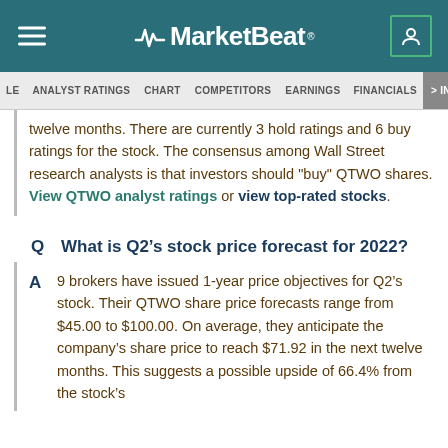MarketBeat
ANALYST RATINGS   CHART   COMPETITORS   EARNINGS   FINANCIALS   > INS
twelve months. There are currently 3 hold ratings and 6 buy ratings for the stock. The consensus among Wall Street research analysts is that investors should "buy" QTWO shares. View QTWO analyst ratings or view top-rated stocks.
What is Q2’s stock price forecast for 2022?
9 brokers have issued 1-year price objectives for Q2’s stock. Their QTWO share price forecasts range from $45.00 to $100.00. On average, they anticipate the company’s share price to reach $71.92 in the next twelve months. This suggests a possible upside of 66.4% from the stock’s